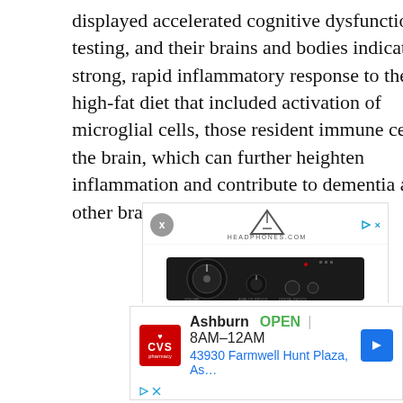displayed accelerated cognitive dysfunction on testing, and their brains and bodies indicated a strong, rapid inflammatory response to the high-fat diet that included activation of microglial cells, those resident immune cells in the brain, which can further heighten inflammation and contribute to dementia and other brain problems.
[Figure (screenshot): Advertisement for Headphones.com showing a black headphone amplifier/DAC device with large volume knob and multiple inputs/outputs]
[Figure (screenshot): Advertisement for CVS Pharmacy in Ashburn showing store hours OPEN 8AM-12AM and address 43930 Farmwell Hunt Plaza, As...]